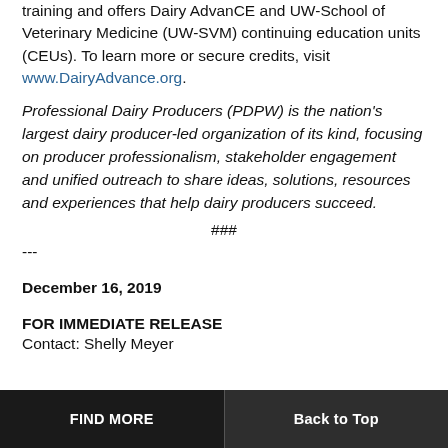training and offers Dairy AdvanCE and UW-School of Veterinary Medicine (UW-SVM) continuing education units (CEUs). To learn more or secure credits, visit www.DairyAdvance.org.
Professional Dairy Producers (PDPW) is the nation's largest dairy producer-led organization of its kind, focusing on producer professionalism, stakeholder engagement and unified outreach to share ideas, solutions, resources and experiences that help dairy producers succeed.
###
---
December 16, 2019
FOR IMMEDIATE RELEASE
Contact: Shelly Meyer
FIND MORE | Back to Top